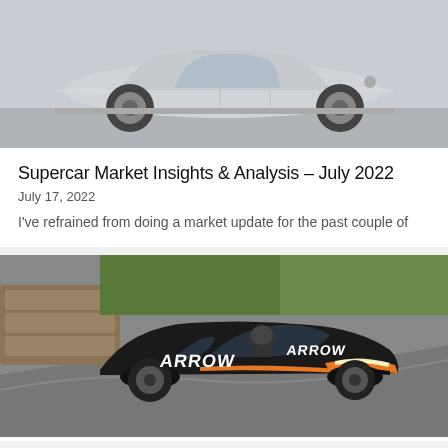[Figure (photo): Side profile of a silver BMW car parked on a light concrete surface]
Supercar Market Insights & Analysis – July 2022
July 17, 2022
I've refrained from doing a market update for the past couple of
[Figure (photo): Dark matte black McLaren 720S Spider with Arrow McLaren SP livery (orange accents) driving on a circuit track, action shot]